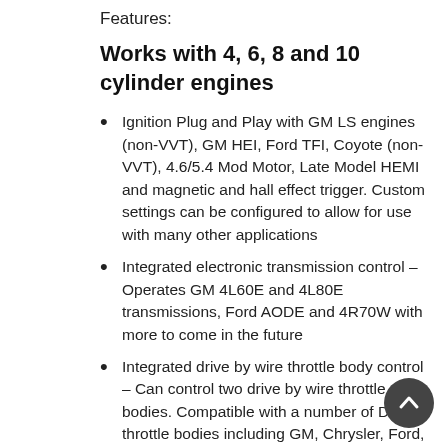Features:
Works with 4, 6, 8 and 10 cylinder engines
Ignition Plug and Play with GM LS engines (non-VVT), GM HEI, Ford TFI, Coyote (non-VVT), 4.6/5.4 Mod Motor, Late Model HEMI and magnetic and hall effect trigger. Custom settings can be configured to allow for use with many other applications
Integrated electronic transmission control – Operates GM 4L60E and 4L80E transmissions, Ford AODE and 4R70W with more to come in the future
Integrated drive by wire throttle body control – Can control two drive by wire throttle bodies. Compatible with a number of DBW throttle bodies including GM, Chrysler, Ford, and Nissan
Integrated dual channel wide band oxygen sensor